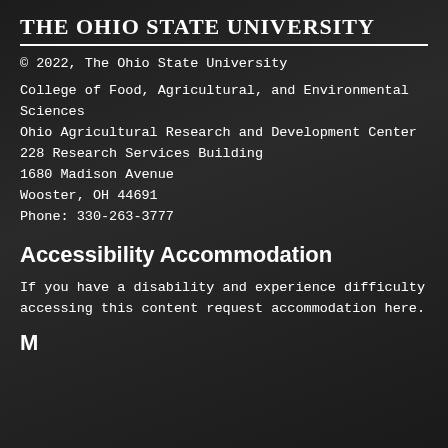The Ohio State University
© 2022, The Ohio State University
College of Food, Agricultural, and Environmental Sciences
Ohio Agricultural Research and Development Center
228 Research Services Building
1680 Madison Avenue
Wooster, OH 44691
Phone: 330-263-3777
Accessibility Accommodation
If you have a disability and experience difficulty accessing this content request accommodation here.
M...